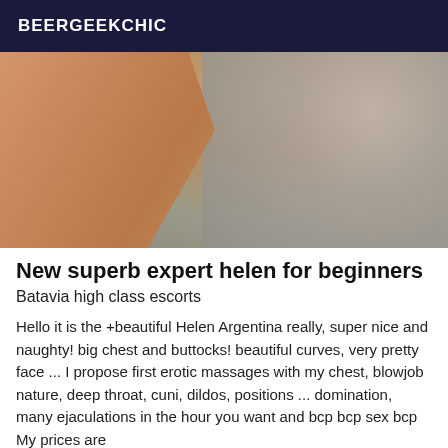BEERGEEKCHIC
[Figure (photo): A person's legs and lower body lying on a pebbly/stony surface, partially visible, with a blurred background of stones and gravel.]
New superb expert helen for beginners
Batavia high class escorts
Hello it is the +beautiful Helen Argentina really, super nice and naughty! big chest and buttocks! beautiful curves, very pretty face ... I propose first erotic massages with my chest, blowjob nature, deep throat, cuni, dildos, positions ... domination, many ejaculations in the hour you want and bcp bcp sex bcp My prices are